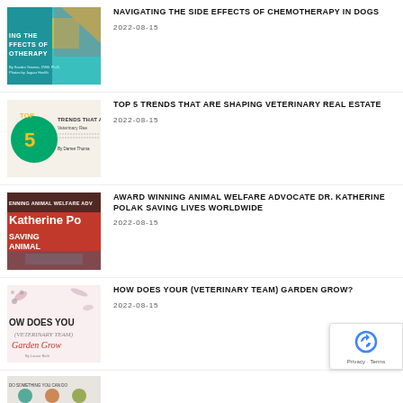[Figure (illustration): Book cover thumbnail for Navigating the Side Effects of Chemotherapy in Dogs]
NAVIGATING THE SIDE EFFECTS OF CHEMOTHERAPY IN DOGS
2022-08-15
[Figure (illustration): Article thumbnail for Top 5 Trends That Are Shaping Veterinary Real Estate]
TOP 5 TRENDS THAT ARE SHAPING VETERINARY REAL ESTATE
2022-08-15
[Figure (photo): Photo thumbnail for Award Winning Animal Welfare Advocate Dr. Katherine Polak Saving Lives Worldwide]
AWARD WINNING ANIMAL WELFARE ADVOCATE DR. KATHERINE POLAK SAVING LIVES WORLDWIDE
2022-08-15
[Figure (illustration): Book cover thumbnail for How Does Your (Veterinary Team) Garden Grow?]
HOW DOES YOUR (VETERINARY TEAM) GARDEN GROW?
2022-08-15
[Figure (photo): Partially visible thumbnail for fifth article]